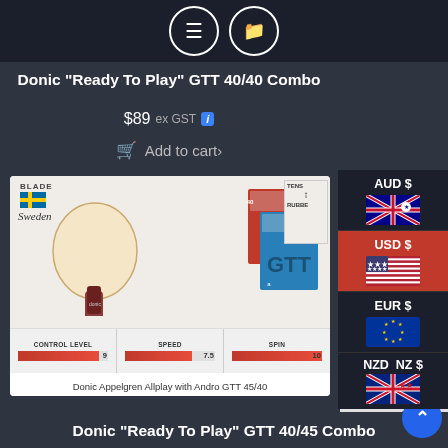Donic "Ready To Play" GTT 40/40 Combo
$89 ex GST
Add to cart
[Figure (photo): Product photo of Donic Appelgren Allplay table tennis blade with Andro GTT 45/40 rubbers, with control level 9, speed 7.5, spin 10 stats bar]
Donic Appelgren Allplay with Andro GTT 45/40
Assembled in Australia Using Quality VOC Free Glues
Donic "Ready To Play" GTT 40/45 Combo